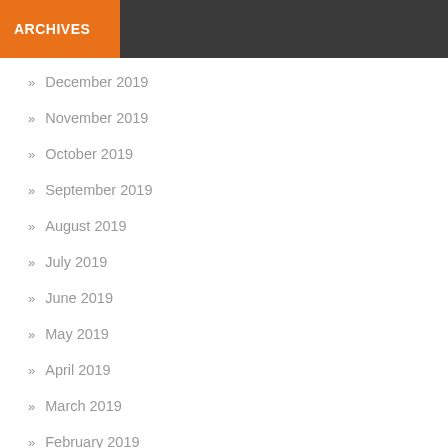ARCHIVES
December 2019
November 2019
October 2019
September 2019
August 2019
July 2019
June 2019
May 2019
April 2019
March 2019
February 2019